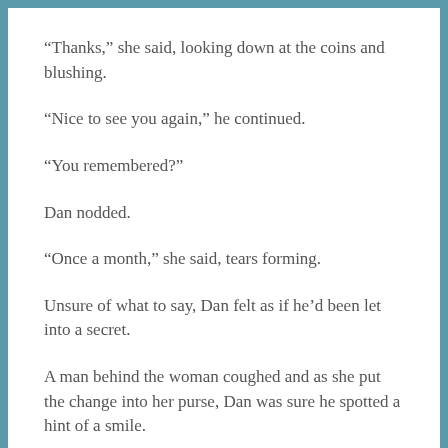“Thanks,” she said, looking down at the coins and blushing.
“Nice to see you again,” he continued.
“You remembered?”
Dan nodded.
“Once a month,” she said, tears forming.
Unsure of what to say, Dan felt as if he’d been let into a secret.
A man behind the woman coughed and as she put the change into her purse, Dan was sure he spotted a hint of a smile.
He watched her walk towards the back of the bus and